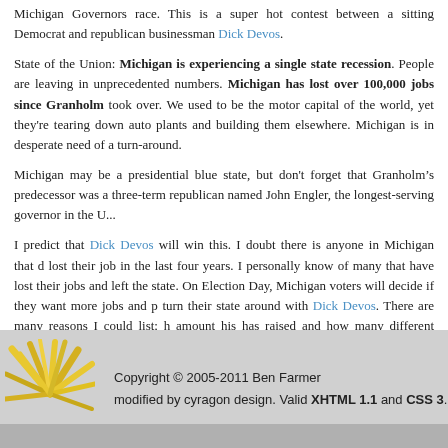Michigan Governors race. This is a super hot contest between a sitting Democrat and republican businessman Dick Devos.
State of the Union: Michigan is experiencing a single state recession. People are leaving in unprecedented numbers. Michigan has lost over 100,000 jobs since Granholm took over. We used to be the motor capital of the world, yet they're tearing down auto plants and building them elsewhere. Michigan is in desperate need of a turn-around.
Michigan may be a presidential blue state, but don't forget that Granholm’s predecessor was a three-term republican named John Engler, the longest-serving governor in the U...
I predict that Dick Devos will win this. I doubt there is anyone in Michigan that doesn't know someone who lost their job in the last four years. I personally know of many that have lost their jobs and left the state. On Election Day, Michigan voters will decide if they want more jobs and prosperity, or if they want to turn their state around with Dick Devos. There are many reasons I could list; his fund-raising record; the amount his has raised and how many different contributors he has; his organization in the state; the list goes on and on.
Politics
Copyright © 2005-2011 Ben Farmer modified by cyragon design. Valid XHTML 1.1 and CSS 3.